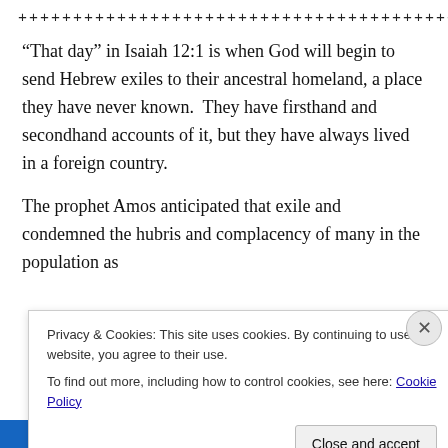+++++++++++++++++++++++++++++++++++++++++++++++
“That day” in Isaiah 12:1 is when God will begin to send Hebrew exiles to their ancestral homeland, a place they have never known.  They have firsthand and secondhand accounts of it, but they have always lived in a foreign country.
The prophet Amos anticipated that exile and condemned the hubris and complacency of many in the population as
Privacy & Cookies: This site uses cookies. By continuing to use this website, you agree to their use.
To find out more, including how to control cookies, see here: Cookie Policy
Close and accept